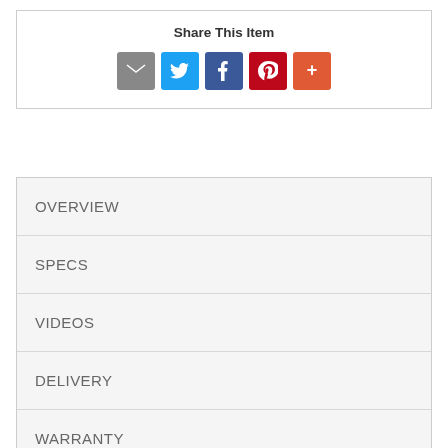Share This Item
[Figure (infographic): Social sharing icons: email (grey), Twitter (blue), Facebook (dark blue), Pinterest (red), More/Plus (orange-red)]
OVERVIEW
SPECS
VIDEOS
DELIVERY
WARRANTY
The epitome of fashion-forward design, this queen